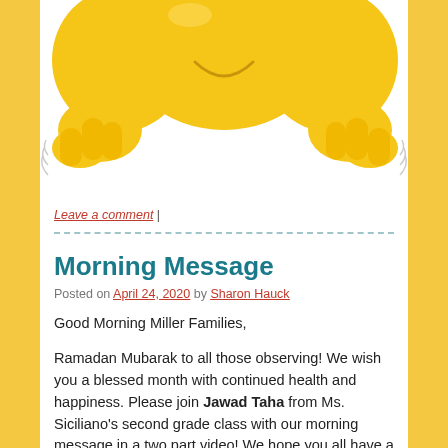[Figure (illustration): Two yellow cartoon emoji/smiley faces with fists raised, on white background. Only the bottom portion of the image is visible, showing the lower bodies and fists of the emojis.]
Leave a comment |
Morning Message
Posted on April 24, 2020 by Sharon Hauck
Good Morning Miller Families,
Ramadan Mubarak to all those observing! We wish you a blessed month with continued health and happiness. Please join Jawad Taha from Ms. Siciliano's second grade class with our morning message in a two part video! We hope you all have a wonderful weekend. You